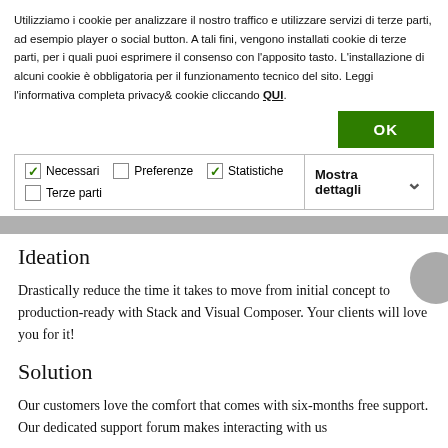Utilizziamo i cookie per analizzare il nostro traffico e utilizzare servizi di terze parti, ad esempio player o social button. A tali fini, vengono installati cookie di terze parti, per i quali puoi esprimere il consenso con l'apposito tasto. L'installazione di alcuni cookie è obbligatoria per il funzionamento tecnico del sito. Leggi l'informativa completa privacy& cookie cliccando QUI.
| ✓ Necessari | ☐ Preferenze | ✓ Statistiche | Mostra dettagli ▾ |
| ☐ Terze parti |  |  |  |
Ideation
Drastically reduce the time it takes to move from initial concept to production-ready with Stack and Visual Composer. Your clients will love you for it!
Solution
Our customers love the comfort that comes with six-months free support. Our dedicated support forum makes interacting with us